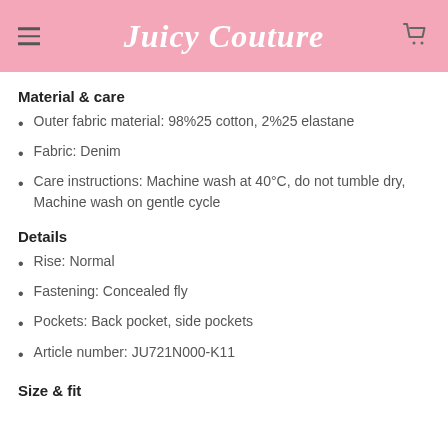Juicy Couture
Material & care
Outer fabric material: 98%25 cotton, 2%25 elastane
Fabric: Denim
Care instructions: Machine wash at 40°C, do not tumble dry, Machine wash on gentle cycle
Details
Rise: Normal
Fastening: Concealed fly
Pockets: Back pocket, side pockets
Article number: JU721N000-K11
Size & fit